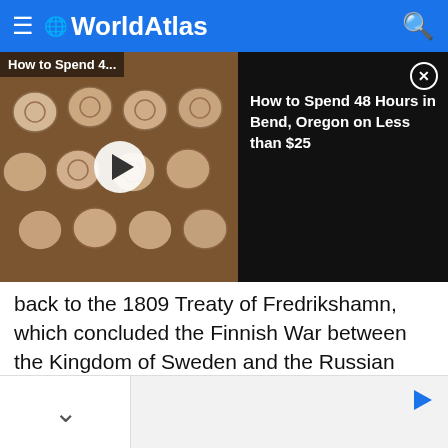WorldAtlas
[Figure (screenshot): Video thumbnail showing baking tray with rolls/pastries, with play button overlay. Right side shows dark panel with text: How to Spend 48 Hours in Bend, Oregon on Less than $25]
back to the 1809 Treaty of Fredrikshamn, which concluded the Finnish War between the Kingdom of Sweden and the Russian Empire. It was decided in the treaty that the river, along with the Muonio and Könkämä Rivers would make up the border between Sweden and the Russian Grand Duchy of Finland.
ARTICLE CONTINUES BELOW
[Figure (other): Bottom widget/ad area with chevron down icon and play arrow icon]